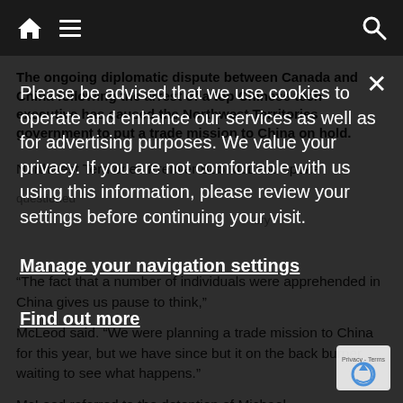Navigation bar with home, menu, and search icons
The ongoing diplomatic dispute between Canada and China following the arrest of a top Chinese tech executive has caused the Northwest Territories government to put a trade mission to China on hold.
Northwest Territories Premier Bob McLeod spoke
Please be advised that we use cookies to operate and enhance our services as well as for advertising purposes. We value your privacy. If you are not comfortable with us using this information, please review your settings before continuing your visit.
Manage your navigation settings
Find out more
questioned
tory
“The fact that a number of individuals were apprehended in China gives us pause to think,”
McLeod said. “We were planning a trade mission to China for this year, but we have since but it on the back burner waiting to see what happens.”
McLeod referred to the detention of Michael